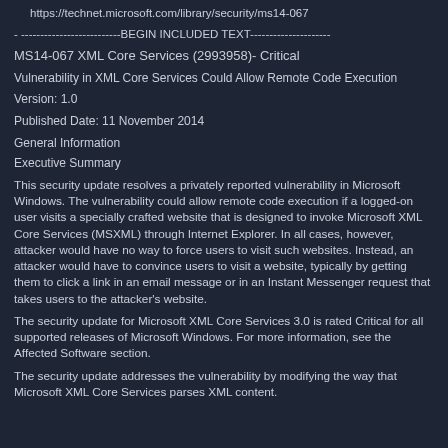https://technet.microsoft.com/library/security/ms14-067
- --------------------------BEGIN INCLUDED TEXT---------------------
MS14-067 XML Core Services (2993958)- Critical
Vulnerability in XML Core Services Could Allow Remote Code Execution
Version: 1.0
Published Date: 11 November 2014
General Information
Executive Summary
This security update resolves a privately reported vulnerability in Microsoft Windows. The vulnerability could allow remote code execution if a logged-on user visits a specially crafted website that is designed to invoke Microsoft XML Core Services (MSXML) through Internet Explorer. In all cases, however, attacker would have no way to force users to visit such websites. Instead, an attacker would have to convince users to visit a website, typically by getting them to click a link in an email message or in an Instant Messenger request that takes users to the attacker's website.
The security update for Microsoft XML Core Services 3.0 is rated Critical for all supported releases of Microsoft Windows. For more information, see the Affected Software section.
The security update addresses the vulnerability by modifying the way that Microsoft XML Core Services parses XML content.